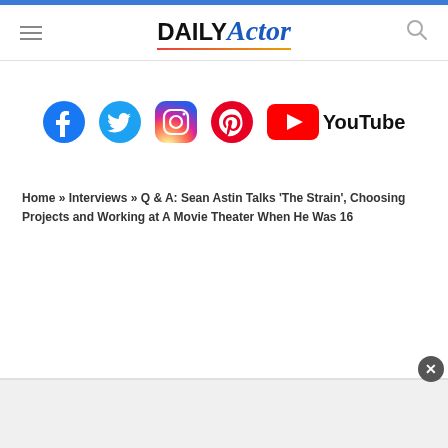DAILY Actor
[Figure (logo): Social media icons: Facebook, Twitter, Instagram, Pinterest, YouTube]
Home » Interviews » Q & A: Sean Astin Talks 'The Strain', Choosing Projects and Working at A Movie Theater When He Was 16